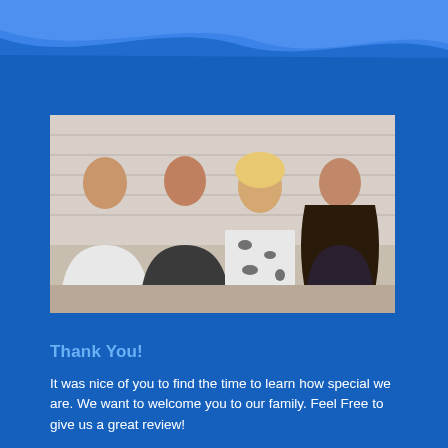[Figure (photo): Family photo of four people (a teenage boy, a middle-aged man, a blonde woman, and a teenage girl) sitting together in front of a white brick wall, smiling at the camera.]
Thank You!
It was nice of you to find the time to learn how special we are. We want to welcome you to our family. Feel Free to give us a great review!